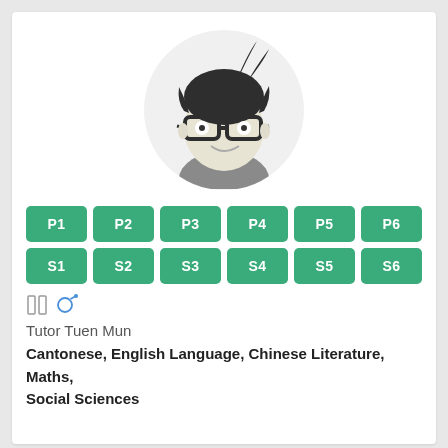[Figure (illustration): Cartoon avatar of a male student with glasses, dark spiky hair, smirking expression, wearing a grey sweater, within a light grey circle background.]
P1
P2
P3
P4
P5
P6
S1
S2
S3
S4
S5
S6
Tutor Tuen Mun
Cantonese, English Language, Chinese Literature, Maths, Social Sciences